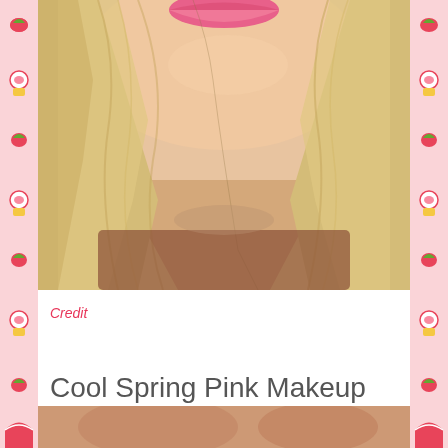[Figure (photo): Close-up photo of a woman with long blonde hair and pink lipstick, showing chin, neck, and hair. The face is cropped at the nose showing the lower portion of the face and blonde straight hair cascading over shoulders.]
Credit
Cool Spring Pink Makeup 2015
[Figure (photo): Partial view of another photo at the bottom of the page, showing warm-toned skin tones, beginning of another makeup photo.]